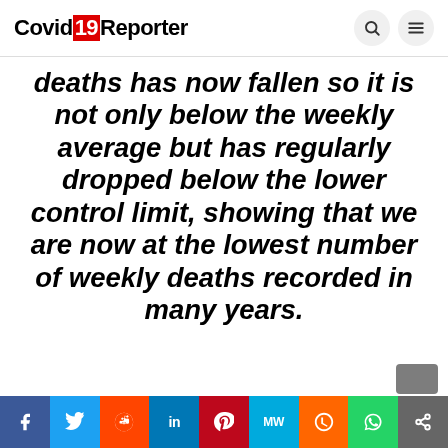Covid19Reporter
deaths has now fallen so it is not only below the weekly average but has regularly dropped below the lower control limit, showing that we are now at the lowest number of weekly deaths recorded in many years.
Facebook Twitter Reddit LinkedIn Pinterest MeWe Mix WhatsApp Share